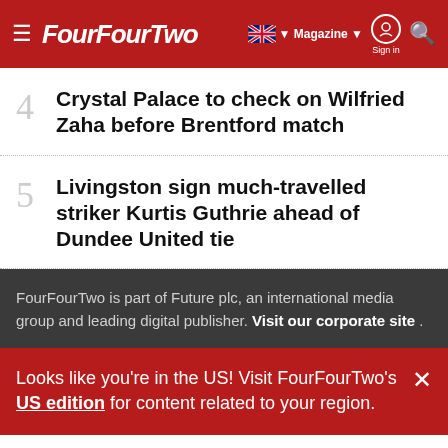FourFourTwo — Magazine | Sign in
4 Crystal Palace to check on Wilfried Zaha before Brentford match
5 Livingston sign much-travelled striker Kurtis Guthrie ahead of Dundee United tie
FourFourTwo is part of Future plc, an international media group and leading digital publisher. Visit our corporate site .
Looks like you're in the US! Visit FourFourTwo's US edition for content related to your region.